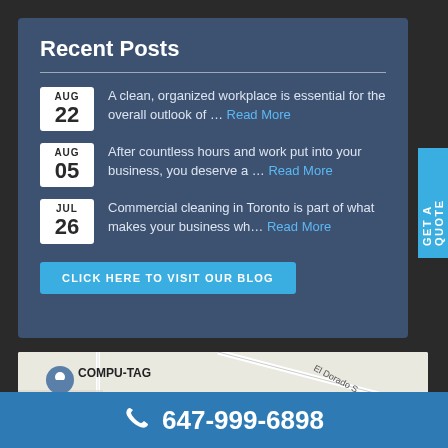Recent Posts
AUG 22 — A clean, organized workplace is essential for the overall outlook of ... Read More
AUG 05 — After countless hours and work put into your business, you deserve a ... Read More
JUL 26 — Commercial cleaning in Toronto is part of what makes your business wh... Read More
CLICK HERE TO VISIT OUR BLOG
[Figure (map): Google Maps embed showing COMPU-TAG location with streets El Dorado S, Global Delivery Systems label]
647-999-6898